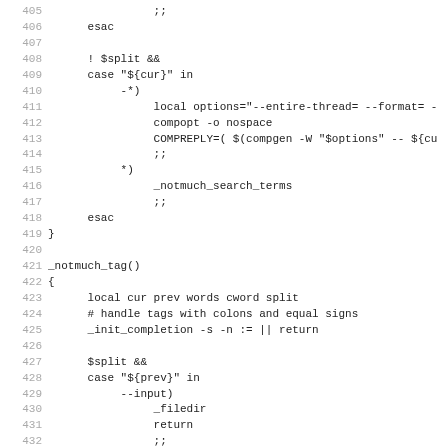Source code listing lines 405-437, shell script bash completion functions
405  ;;
406      esac
407
408      ! $split &&
409      case "${cur}" in
410           -*)
411                local options="--entire-thread= --format= -
412                compopt -o nospace
413                COMPREPLY=( $(compgen -W "$options" -- ${cu
414                ;;
415           *)
416                _notmuch_search_terms
417                ;;
418      esac
419 }
420
421 _notmuch_tag()
422 {
423      local cur prev words cword split
424      # handle tags with colons and equal signs
425      _init_completion -s -n := || return
426
427      $split &&
428      case "${prev}" in
429           --input)
430                _filedir
431                return
432                ;;
433      esac
434
435      ! $split &&
436      case "${cur}" in
437           --*)